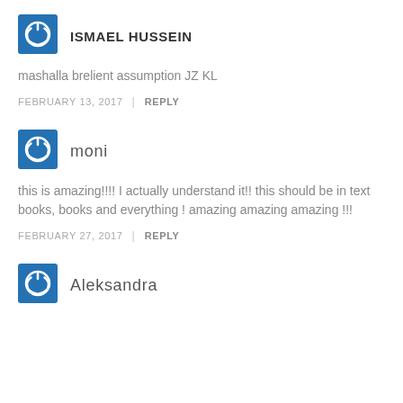[Figure (other): Blue square avatar icon with power symbol for user ISMAEL HUSSEIN]
ISMAEL HUSSEIN
mashalla brelient assumption JZ KL
FEBRUARY 13, 2017 | REPLY
[Figure (other): Blue square avatar icon with power symbol for user moni]
moni
this is amazing!!!! I actually understand it!! this should be in text books, books and everything ! amazing amazing amazing !!!
FEBRUARY 27, 2017 | REPLY
[Figure (other): Blue square avatar icon with power symbol for user Aleksandra]
Aleksandra